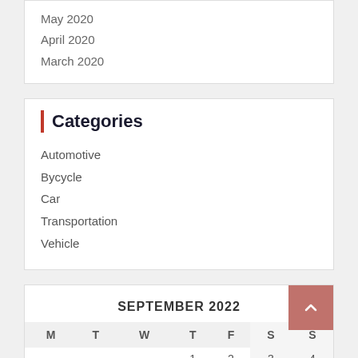May 2020
April 2020
March 2020
Categories
Automotive
Bycycle
Car
Transportation
Vehicle
| M | T | W | T | F | S | S |
| --- | --- | --- | --- | --- | --- | --- |
|  |  |  | 1 | 2 | 3 | 4 |